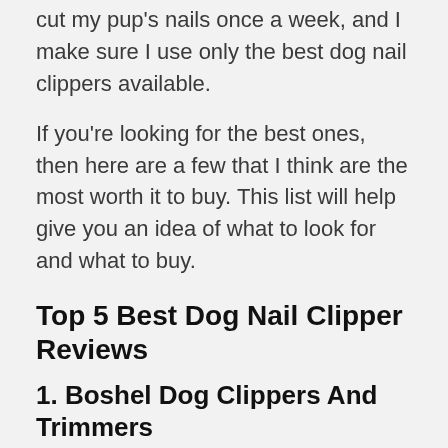cut my pup's nails once a week, and I make sure I use only the best dog nail clippers available.
If you're looking for the best ones, then here are a few that I think are the most worth it to buy. This list will help give you an idea of what to look for and what to buy.
Top 5 Best Dog Nail Clipper Reviews
1. Boshel Dog Clippers And Trimmers
This is the dog nail clipper brand that most